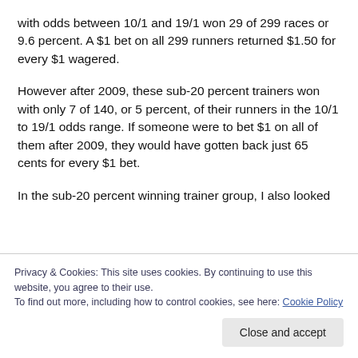with odds between 10/1 and 19/1 won 29 of 299 races or 9.6 percent. A $1 bet on all 299 runners returned $1.50 for every $1 wagered.
However after 2009, these sub-20 percent trainers won with only 7 of 140, or 5 percent, of their runners in the 10/1 to 19/1 odds range. If someone were to bet $1 on all of them after 2009, they would have gotten back just 65 cents for every $1 bet.
In the sub-20 percent winning trainer group, I also looked
Privacy & Cookies: This site uses cookies. By continuing to use this website, you agree to their use.
To find out more, including how to control cookies, see here: Cookie Policy